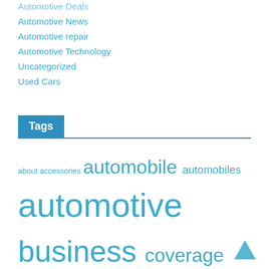Automotive Deals
Automotive News
Automotive repair
Automotive Technology
Uncategorized
Used Cars
Tags
about accessories automobile automobiles automotive business coverage department design education efficiency elements equipment evaluation faculty fashion finance guidelines health ideas illegal improvement india information insurance legal leisure